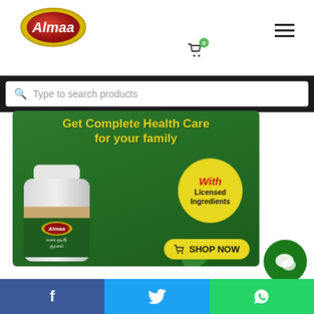[Figure (logo): Almaa brand logo - oval shaped with red inner ellipse and white italic text]
[Figure (screenshot): Shopping cart icon with green badge showing 0]
[Figure (other): Hamburger menu icon with three horizontal lines]
Type to search products
[Figure (photo): Almaa brand banner - green background with bottle of health product, yellow circle badge saying 'With Licensed Ingredients', headline 'Get Complete Health Care for your family', and SHOP NOW button]
[Figure (other): Green circular chat/messaging button]
[Figure (other): Footer with Facebook, Twitter, and WhatsApp social media icons]